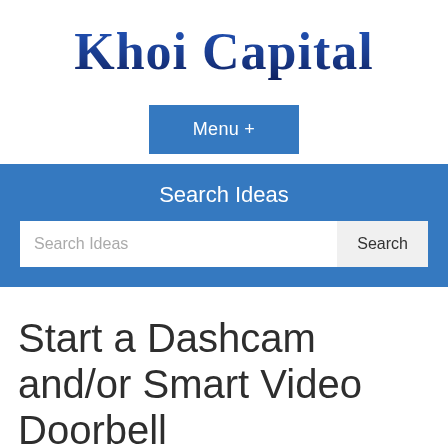Khoi Capital
Menu +
Search Ideas
Search Ideas   Search
Start a Dashcam and/or Smart Video Doorbell